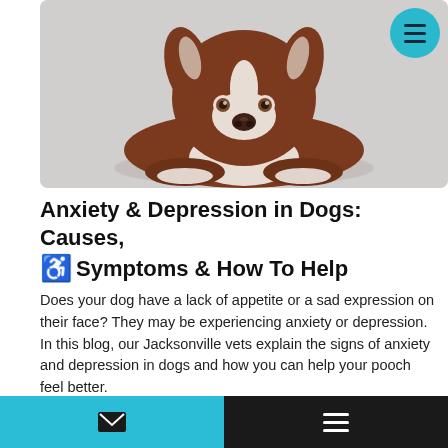[Figure (photo): A brown and white Border Collie dog lying down with its head resting on its paws, looking up with a sad expression, against a grey background.]
Anxiety & Depression in Dogs: Causes, Symptoms & How To Help
Does your dog have a lack of appetite or a sad expression on their face? They may be experiencing anxiety or depression. In this blog, our Jacksonville vets explain the signs of anxiety and depression in dogs and how you can help your pooch feel better.
READ MORE ▶